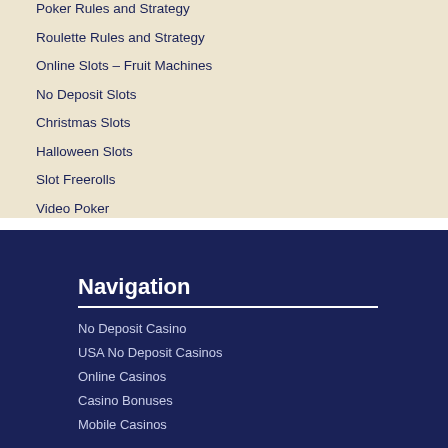Poker Rules and Strategy
Roulette Rules and Strategy
Online Slots – Fruit Machines
No Deposit Slots
Christmas Slots
Halloween Slots
Slot Freerolls
Video Poker
Navigation
No Deposit Casino
USA No Deposit Casinos
Online Casinos
Casino Bonuses
Mobile Casinos